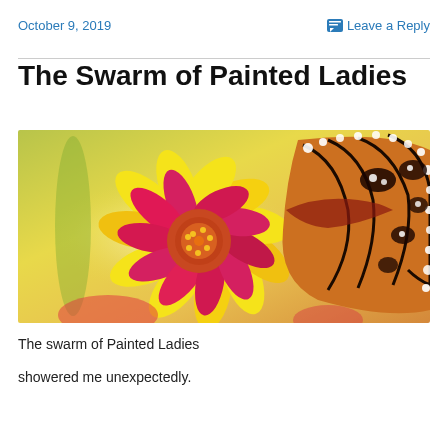October 9, 2019   Leave a Reply
The Swarm of Painted Ladies
[Figure (photo): A close-up photo of a red and yellow flower (blanket flower / gaillardia) on the left side and an orange, black, and white Painted Lady butterfly on the right side, against a soft green and orange blurred background.]
The swarm of Painted Ladies

showered me unexpectedly.